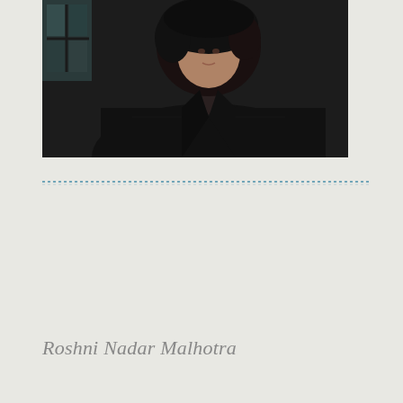[Figure (photo): Portrait photo of a person with dark hair wearing a black jacket, cropped at upper body, photographed against a dark background with a window visible in the top left corner.]
Roshni Nadar Malhotra